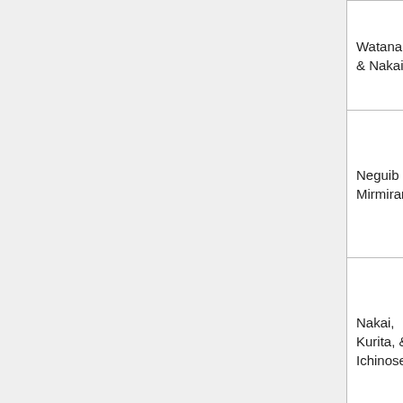| Author(s) | Year | Journal/Proceedings | Citation |
| --- | --- | --- | --- |
| Watanabe, & Nakai | 2001 | Journal of Constructional Steel Research | St Co Vo do 97 |
| Neguib & Mirmiran | 2003 | Journal of Constructional Steel Research | Na (2 Co Jo Re do 97 |
| Nakai, Kurita, & Ichinose | 1991 | Proceedings of the Third International Conference on Steel-Concrete | Na L. St St Th St St Fu |